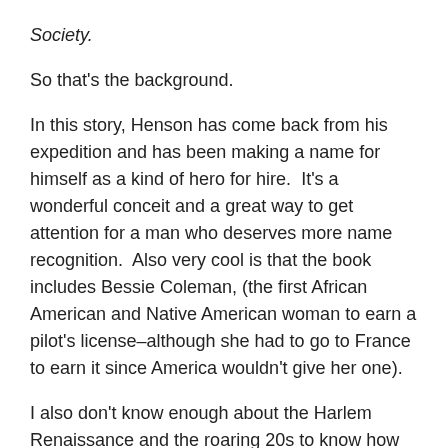Society.
So that's the background.
In this story, Henson has come back from his expedition and has been making a name for himself as a kind of hero for hire.  It's a wonderful conceit and a great way to get attention for a man who deserves more name recognition.  Also very cool is that the book includes Bessie Coleman, (the first African American and Native American woman to earn a pilot's license–although she had to go to France to earn it since America wouldn't give her one).
I also don't know enough about the Harlem Renaissance and the roaring 20s to know how accurately the city is depicted.  But it seems pretty accurate and Phillips conveys the tone and mood of the time pretty